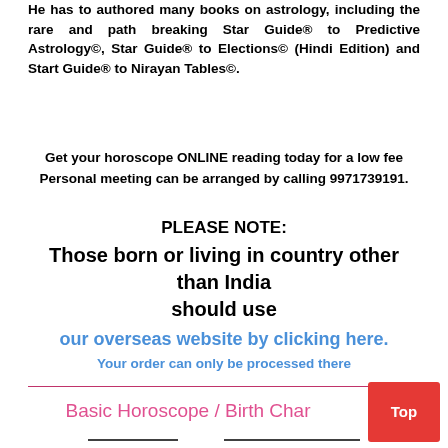He has to authored many books on astrology, including the rare and path breaking Star Guide® to Predictive Astrology©, Star Guide® to Elections© (Hindi Edition) and Start Guide® to Nirayan Tables©.
Get your horoscope ONLINE reading today for a low fee Personal meeting can be arranged by calling 9971739191.
PLEASE NOTE:
Those born or living in country other than India should use
our overseas website by clicking here.
Your order can only be processed there
Basic Horoscope / Birth Char